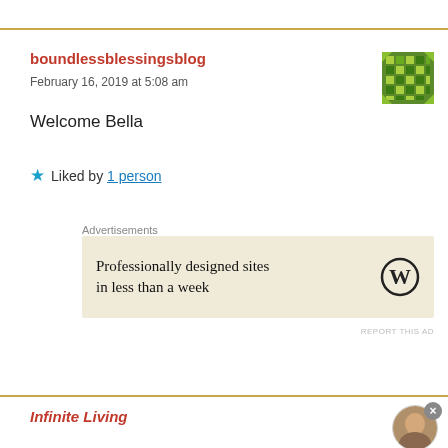boundlessblessingsblog
February 16, 2019 at 5:08 am
Welcome Bella
★ Liked by 1 person
[Figure (other): Green pixel/mosaic avatar icon for boundlessblessingsblog]
Advertisements
[Figure (other): WordPress advertisement: Professionally designed sites in less than a week]
REPORT THIS AD
Infinite Living
[Figure (photo): Small circular profile photo of a person]
Advertisements
[Figure (other): Day One journaling app advertisement: The only journaling app you'll ever need.]
REPORT THIS AD